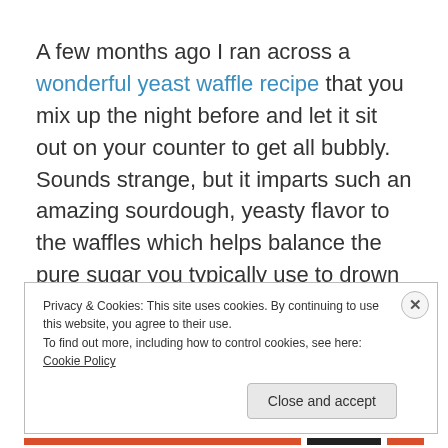A few months ago I ran across a wonderful yeast waffle recipe that you mix up the night before and let it sit out on your counter to get all bubbly.  Sounds strange, but it imparts such an amazing sourdough, yeasty flavor to the waffles which helps balance the pure sugar you typically use to drown the waffle.  Matt and I have had a slight obsession with the Southern dish of chicken and waffles
Privacy & Cookies: This site uses cookies. By continuing to use this website, you agree to their use.
To find out more, including how to control cookies, see here: Cookie Policy
Close and accept